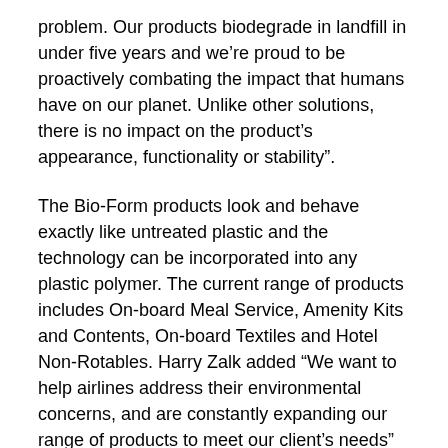problem. Our products biodegrade in landfill in under five years and we're proud to be proactively combating the impact that humans have on our planet. Unlike other solutions, there is no impact on the product's appearance, functionality or stability".
The Bio-Form products look and behave exactly like untreated plastic and the technology can be incorporated into any plastic polymer. The current range of products includes On-board Meal Service, Amenity Kits and Contents, On-board Textiles and Hotel Non-Rotables. Harry Zalk added “We want to help airlines address their environmental concerns, and are constantly expanding our range of products to meet our client’s needs”
The Breakdown Plastic additive has proven its extraordinary properties under robust laboratory testing (ASTM D5511).